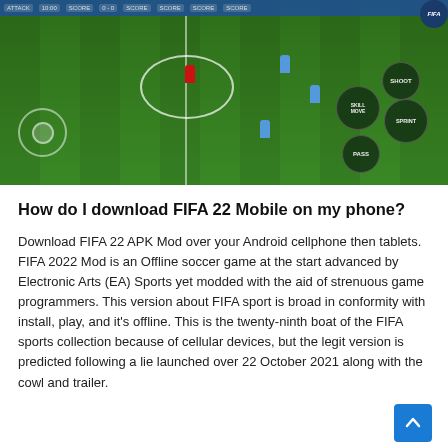[Figure (screenshot): FIFA 22 Mobile game screenshot showing a football pitch from a top-down perspective with players, game HUD with team scores, joystick control on the left, and action buttons (SHOOT, SKILL MOVE, SPRINT, PASS) on the right.]
How do I download FIFA 22 Mobile on my phone?
Download FIFA 22 APK Mod over your Android cellphone then tablets. FIFA 2022 Mod is an Offline soccer game at the start advanced by Electronic Arts (EA) Sports yet modded with the aid of strenuous game programmers. This version about FIFA sport is broad in conformity with install, play, and it's offline. This is the twenty-ninth boat of the FIFA sports collection because of cellular devices, but the legit version is predicted following a lie launched over 22 October 2021 along with the cowl and trailer.